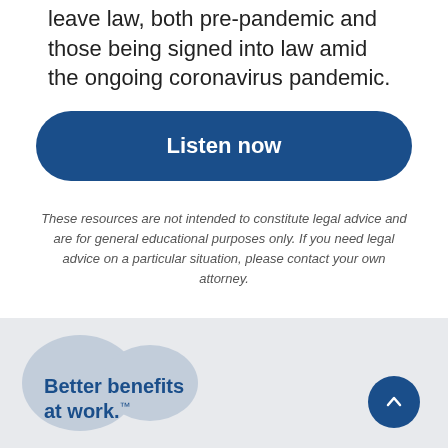leave law, both pre-pandemic and those being signed into law amid the ongoing coronavirus pandemic.
[Figure (other): Dark blue rounded rectangle button with white bold text 'Listen now']
These resources are not intended to constitute legal advice and are for general educational purposes only. If you need legal advice on a particular situation, please contact your own attorney.
Better benefits at work.™